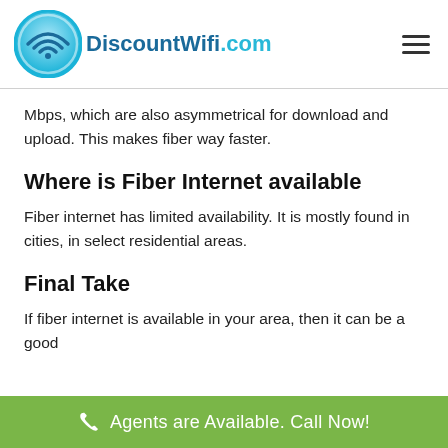DiscountWifi.com
Mbps, which are also asymmetrical for download and upload. This makes fiber way faster.
Where is Fiber Internet available
Fiber internet has limited availability. It is mostly found in cities, in select residential areas.
Final Take
If fiber internet is available in your area, then it can be a good
Agents are Available. Call Now!